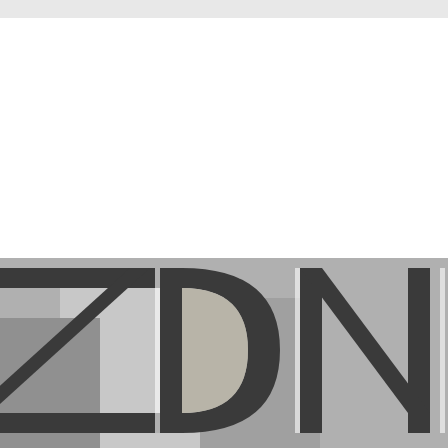[Figure (logo): ZDNET logo — large bold sans-serif letters partially cropped at the bottom of the page, rendered in dark charcoal/black with a photographic background visible through or behind the letters.]